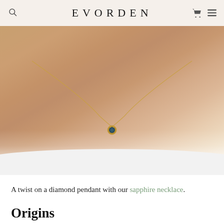EVORDEN
[Figure (photo): Close-up photograph of a person's neck and collarbone wearing a delicate gold chain necklace with a small sapphire (dark blue/teal) pendant stone set in a bezel. The person is wearing a white garment. The background shows warm golden-beige skin tones.]
A twist on a diamond pendant with our sapphire necklace.
Origins